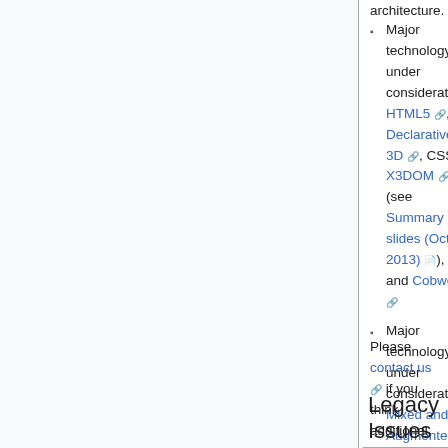architecture.
Major technology under consideration: HTML5, Declarative 3D, CSS, X3DOM (see Summary slides (Oct 2013)), and Cobweb
Major technology under consideration: Mixed and Augmented Reality (MAR) (renamed from Augmented Reality Continuum (ARC)
Relaxing prior design constraints can enable a broader new basis for X3D integration
Normalizing interaction semantics with HTML5 can further open up X3D for the vast majority of Web authors
Please contact us if you think additional technologies need to be considered. X3D Futures planning is primarily a Web3D Consortium member-only activity, with community input.
Legacy Issues